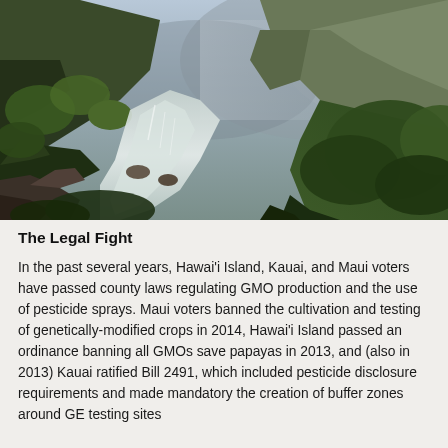[Figure (photo): Landscape photograph of a Hawaiian valley with a rushing mountain stream, lush green vegetation, cliffs, and misty mountains in the background.]
The Legal Fight
In the past several years, Hawai'i Island, Kauai, and Maui voters have passed county laws regulating GMO production and the use of pesticide sprays. Maui voters banned the cultivation and testing of genetically-modified crops in 2014, Hawai'i Island passed an ordinance banning all GMOs save papayas in 2013, and (also in 2013) Kauai ratified Bill 2491, which included pesticide disclosure requirements and made mandatory the creation of buffer zones around GE testing sites